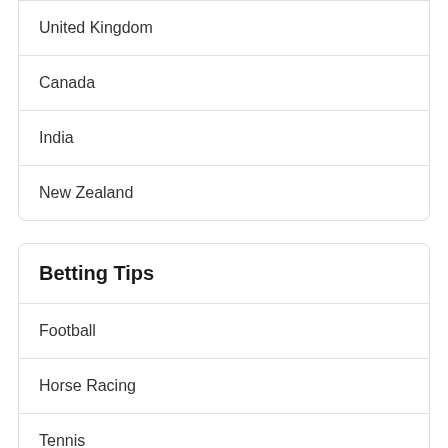United Kingdom
Canada
India
New Zealand
Betting Tips
Football
Horse Racing
Tennis
Boxing